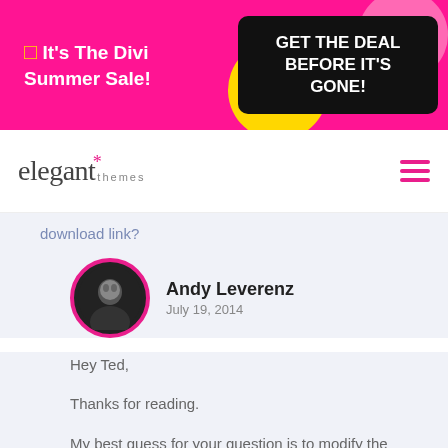[Figure (screenshot): Elegant Themes website promotional banner — pink background with 'It's The Divi Summer Sale!' text and a black button 'GET THE DEAL BEFORE IT'S GONE!']
[Figure (logo): Elegant Themes logo with asterisk and 'themes' subtext, plus pink hamburger menu icon on the right]
download link?
Andy Leverenz
July 19, 2014
Hey Ted,
Thanks for reading.
My best guess for your question is to modify the audio shortcode within